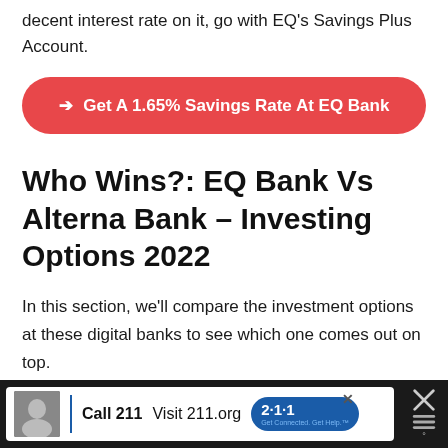decent interest rate on it, go with EQ's Savings Plus Account.
[Figure (other): Red CTA button: → Get A 1.65% Savings Rate At EQ Bank]
Who Wins?: EQ Bank Vs Alterna Bank – Investing Options 2022
In this section, we'll compare the investment options at these digital banks to see which one comes out on top.
[Figure (other): Advertisement bar at bottom: Call 211 | Visit 211.org with 2-1-1 badge logo]